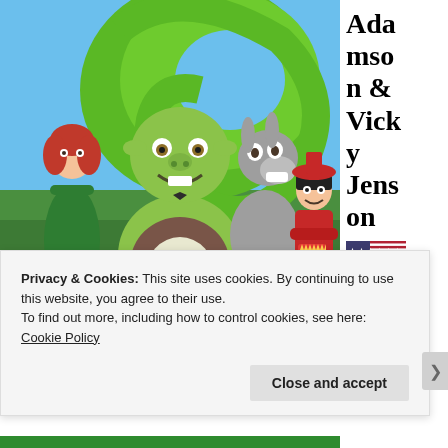[Figure (photo): Promotional image from the animated movie Shrek showing the main characters: Princess Fiona (left, in green dress), Shrek (center, large green ogre sitting), Donkey (grey donkey laughing), and Lord Farquaad (right, small man in red outfit). Background features a large green swirl shape and blue sky.]
Adamson & Vicky Jenson 🇺🇸
It ain'
Privacy & Cookies: This site uses cookies. By continuing to use this website, you agree to their use.
To find out more, including how to control cookies, see here:
Cookie Policy
Close and accept